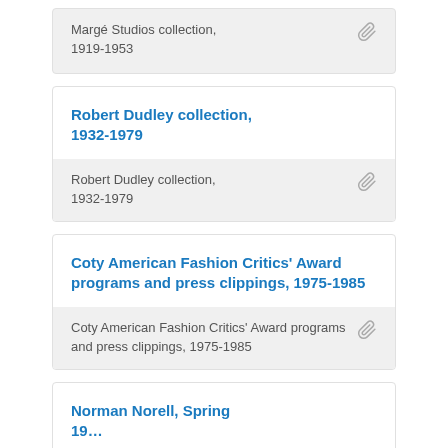Margé Studios collection, 1919-1953
Robert Dudley collection, 1932-1979
Robert Dudley collection, 1932-1979
Coty American Fashion Critics' Award programs and press clippings, 1975-1985
Coty American Fashion Critics' Award programs and press clippings, 1975-1985
Norman Norell, Spring 19…